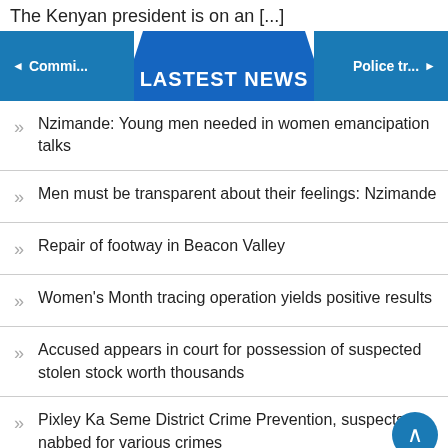The Kenyan president is on an [...]
LASTEST NEWS
Nzimande: Young men needed in women emancipation talks
Men must be transparent about their feelings: Nzimande
Repair of footway in Beacon Valley
Women's Month tracing operation yields positive results
Accused appears in court for possession of suspected stolen stock worth thousands
Pixley Ka Seme District Crime Prevention, suspects nabbed for various crimes